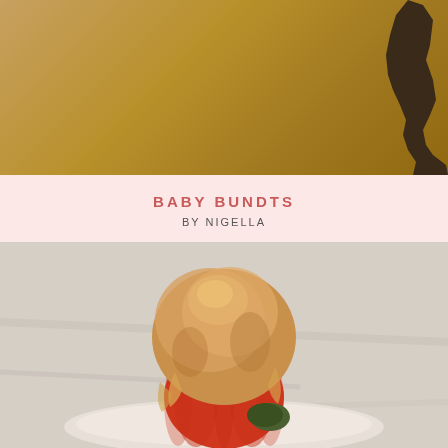[Figure (photo): Top portion of a book or magazine cover with a golden/bronze gradient background and a dark silhouette of a woman in high heels on the right side]
BABY BUNDTS
BY NIGELLA
[Figure (photo): Close-up food photo of a scoop of golden-brown ice cream or dessert served on top of a small red pumpkin-shaped dish on a white plate, with a dark green garnish, on a light background]